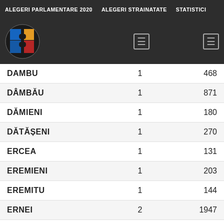ALEGERI PARLAMENTARE 2020   ALEGERI STRAINATATE   STATISTICI
| Localitate | Nr. | Alegatori |
| --- | --- | --- |
| DAMBU | 1 | 468 |
| DÂMBĂU | 1 | 871 |
| DĂMIENI | 1 | 180 |
| DĂTĂȘENI | 1 | 270 |
| ERCEA | 1 | 131 |
| EREMIENI | 1 | 203 |
| EREMITU | 1 | 144 |
| ERNEI | 2 | 1947 |
| FELEAG | 1 | 163 |